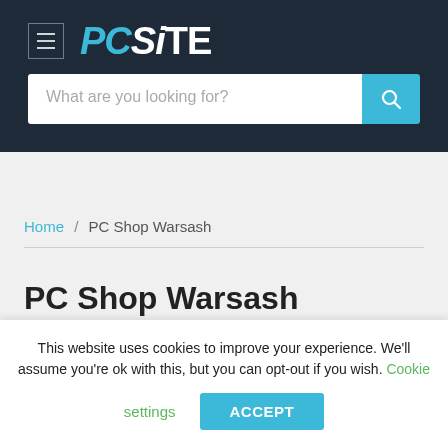[Figure (logo): PCsite website logo with hamburger menu icon on dark navy background]
What are you looking for?
Home / PC Shop Warsash
PC Shop Warsash
This website uses cookies to improve your experience. We'll assume you're ok with this, but you can opt-out if you wish. Cookie settings  ACCEPT